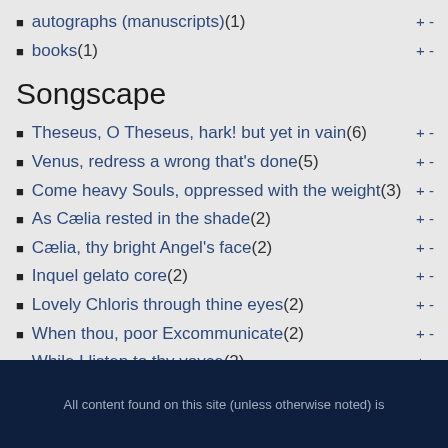autographs (manuscripts) (1)
books (1)
Songscape
Theseus, O Theseus, hark! but yet in vain (6)
Venus, redress a wrong that's done (5)
Come heavy Souls, oppressed with the weight (3)
As Cælia rested in the shade (2)
Cælia, thy bright Angel's face (2)
Inquel gelato core (2)
Lovely Chloris through thine eyes (2)
When thou, poor Excommunicate (2)
While I listen to thy voyce (2)
Θέλω λέγειν Ἀτρείδας (2)
Show more
All content found on this site (unless otherwise noted) is